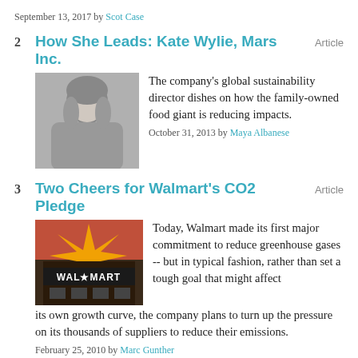September 13, 2017 by Scot Case
2  How She Leads: Kate Wylie, Mars Inc.  Article
[Figure (photo): Black and white headshot photo of Kate Wylie]
The company's global sustainability director dishes on how the family-owned food giant is reducing impacts. October 31, 2013 by Maya Albanese
3  Two Cheers for Walmart's CO2 Pledge  Article
[Figure (photo): Photo of Walmart store exterior with large orange starburst sign, WAL*MART signage visible]
Today, Walmart made its first major commitment to reduce greenhouse gases -- but in typical fashion, rather than set a tough goal that might affect its own growth curve, the company plans to turn up the pressure on its thousands of suppliers to reduce their emissions. February 25, 2010 by Marc Gunther